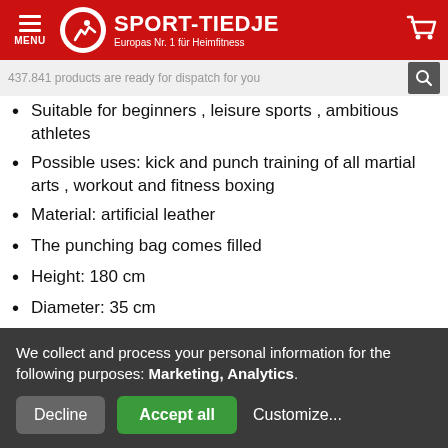SPORT-TIEDJE – Europas Nr. 1 für Heimfitness
437.841 products are ready for dispatch for you
Suitable for beginners , leisure sports , ambitious athletes
Possible uses: kick and punch training of all martial arts , workout and fitness boxing
Material: artificial leather
The punching bag comes filled
Height: 180 cm
Diameter: 35 cm
Weight: approximately 56 kg
We collect and process your personal information for the following purposes: Marketing, Analytics.